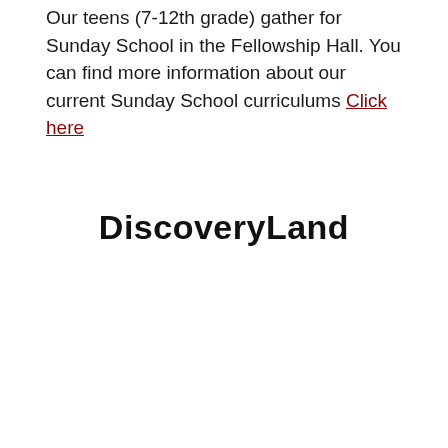Our teens (7-12th grade) gather for Sunday School in the Fellowship Hall. You can find more information about our current Sunday School curriculums Click here
DiscoveryLand